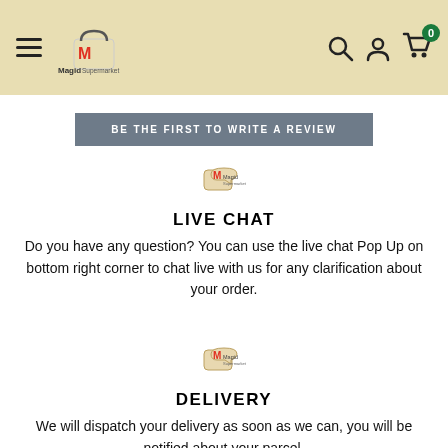Magid Supermarket navigation bar with hamburger menu, logo, search, account, and cart icons
BE THE FIRST TO WRITE A REVIEW
[Figure (logo): Magid Supermarket logo small]
LIVE CHAT
Do you have any question? You can use the live chat Pop Up on bottom right corner to chat live with us for any clarification about your order.
[Figure (logo): Magid Supermarket logo small]
DELIVERY
We will dispatch your delivery as soon as we can, you will be notified about your parcel.